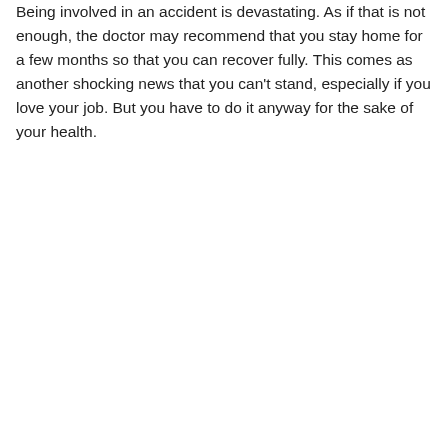Being involved in an accident is devastating. As if that is not enough, the doctor may recommend that you stay home for a few months so that you can recover fully. This comes as another shocking news that you can't stand, especially if you love your job. But you have to do it anyway for the sake of your health.